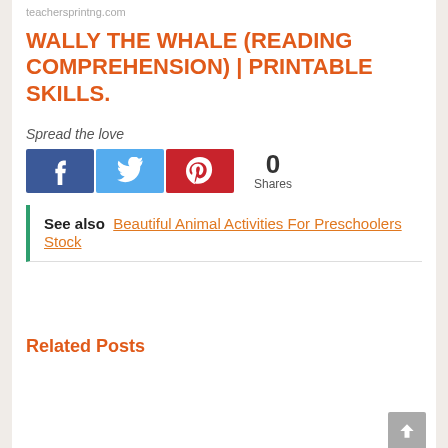teachersprintng.com
WALLY THE WHALE (READING COMPREHENSION) | PRINTABLE SKILLS.
Spread the love
[Figure (infographic): Social share buttons: Facebook (blue), Twitter (light blue), Pinterest (red), with 0 Shares count]
See also  Beautiful Animal Activities For Preschoolers Stock
Related Posts